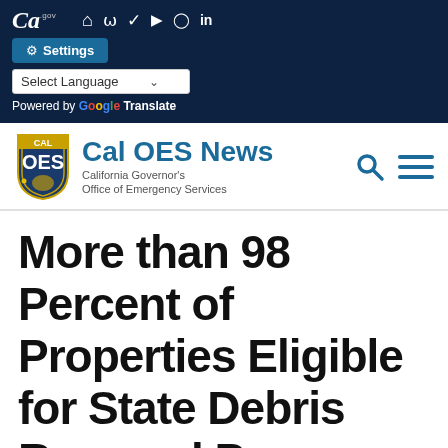CA.GOV | Settings | Select Language | Powered by Google Translate
[Figure (logo): Cal OES logo shield with bear and California Governor's Office of Emergency Services text, navigation icons including search and menu]
More than 98 Percent of Properties Eligible for State Debris Removal Program Cleared of